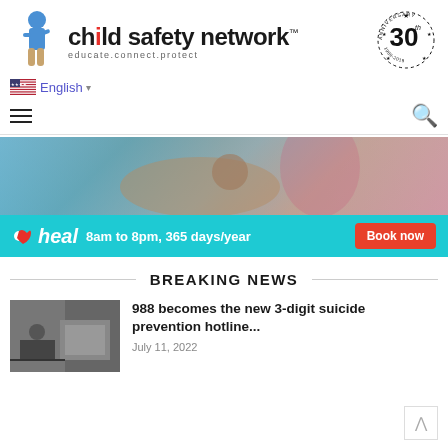[Figure (logo): Child Safety Network logo with child jumping, text 'child safety network', tagline 'educate.connect.protect', and 30th anniversary badge]
English ▾
[Figure (screenshot): Navigation bar with hamburger menu icon and search icon]
[Figure (photo): Heal advertisement banner showing a doctor with a stethoscope, with teal bar reading 'heal 8am to 8pm, 365 days/year' and 'Book now' button]
BREAKING NEWS
[Figure (photo): Thumbnail image of a person at a desk in a call center]
988 becomes the new 3-digit suicide prevention hotline...
July 11, 2022